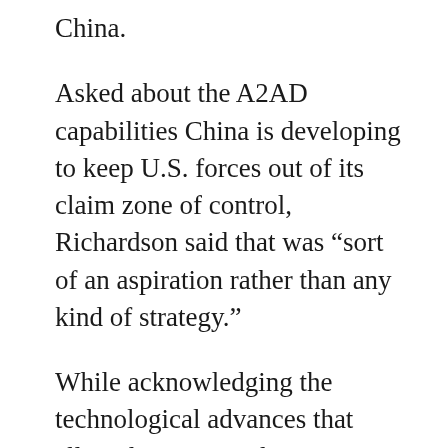China.
Asked about the A2AD capabilities China is developing to keep U.S. forces out of its claim zone of control, Richardson said that was “sort of an aspiration rather than any kind of strategy.”
While acknowledging the technological advances that allow detection and precision targeting at greater distances, “there is a whole sequence of events that have to happen in perfect symphony to execute that mission. There are many